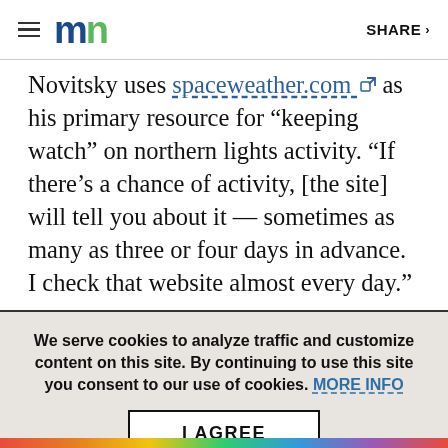MN | SHARE
Novitsky uses spaceweather.com as his primary resource for “keeping watch” on northern lights activity. “If there’s a chance of activity, [the site] will tell you about it — sometimes as many as three or four days in advance. I check that website almost every day.”
We serve cookies to analyze traffic and customize content on this site. By continuing to use this site you consent to our use of cookies. MORE INFO
I AGREE